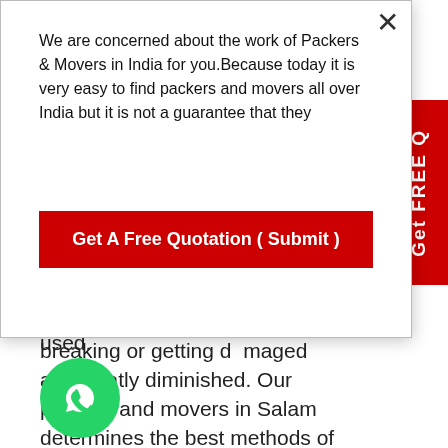We are concerned about the work of Packers & Movers in India for you.Because today it is very easy to find packers and movers all over India but it is not a guarantee that they
Get A Free Quotation ( Submit )
service for businesses and households to relocate property at a cost-effective price in Salam.
Invest in sophisticated suppliers :
Professional packers and movers in Salam supplies products by selecting quality materials. For packaging at offices and homes, the experts know what type of materials are used.
The chances of products breaking or getting damaged are greatly diminished. Our packers and movers in Salam determines the best methods of delivering goods in a secure and
[Figure (illustration): Orange circle phone/call icon]
[Figure (illustration): Green WhatsApp icon circle]